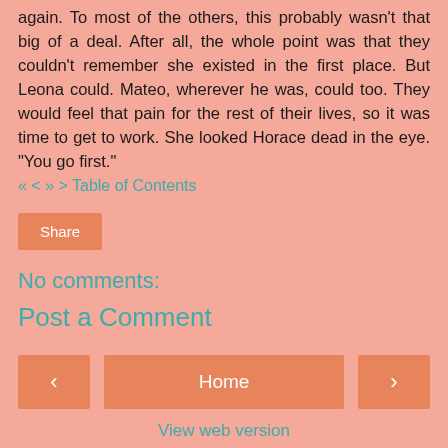again. To most of the others, this probably wasn't that big of a deal. After all, the whole point was that they couldn't remember she existed in the first place. But Leona could. Mateo, wherever he was, could too. They would feel that pain for the rest of their lives, so it was time to get to work. She looked Horace dead in the eye. “You go first.”
« < » > Table of Contents
Share
No comments:
Post a Comment
< Home > View web version Powered by Blogger.